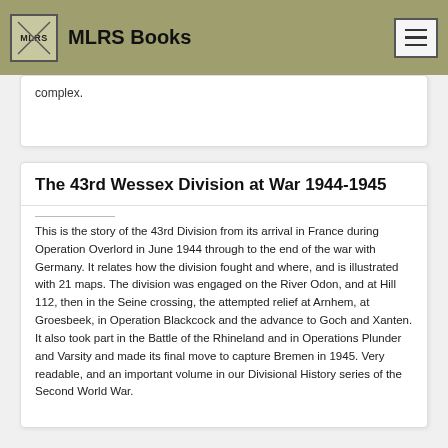MLRS Books
complex.
The 43rd Wessex Division at War 1944-1945
This is the story of the 43rd Division from its arrival in France during Operation Overlord in June 1944 through to the end of the war with Germany. It relates how the division fought and where, and is illustrated with 21 maps. The division was engaged on the River Odon, and at Hill 112, then in the Seine crossing, the attempted relief at Arnhem, at Groesbeek, in Operation Blackcock and the advance to Goch and Xanten. It also took part in the Battle of the Rhineland and in Operations Plunder and Varsity and made its final move to capture Bremen in 1945. Very readable, and an important volume in our Divisional History series of the Second World War.